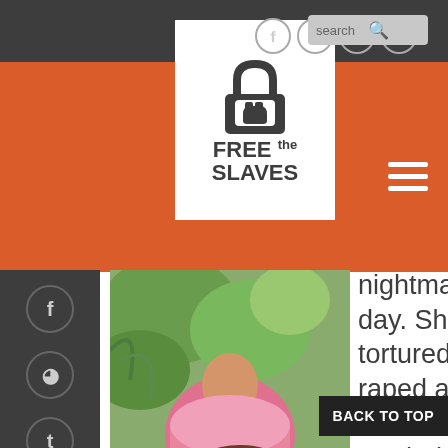Free the Slaves website header with logo, social icons (Facebook, Twitter, Vimeo, YouTube), search bar, and navigation
[Figure (logo): Free the Slaves logo: white padlock with fist icon above text FREE THE SLAVES]
[Figure (photo): Person wearing pink top seated outdoors near green foliage]
nightmare every day. She was tortured and raped as a sex slave in Phnom Penh, but now she goes back to the brothe help sex